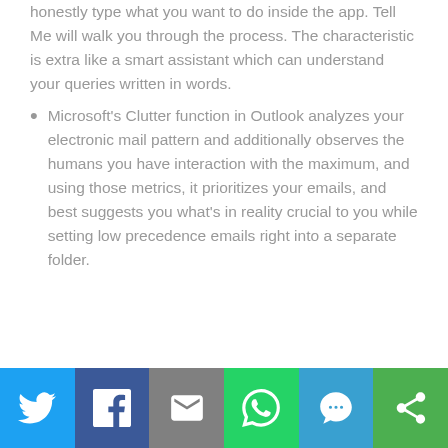honestly type what you want to do inside the app. Tell Me will walk you through the process. The characteristic is extra like a smart assistant which can understand your queries written in words.
Microsoft's Clutter function in Outlook analyzes your electronic mail pattern and additionally observes the humans you have interaction with the maximum, and using those metrics, it prioritizes your emails, and best suggests you what's in reality crucial to you while setting low precedence emails right into a separate folder.
[Figure (infographic): Social sharing bar with icons for Twitter (blue), Facebook (dark blue), Email (grey), WhatsApp (green), SMS (blue), and Share/more (green)]